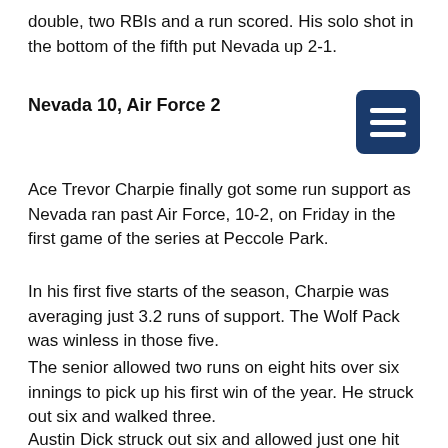double, two RBIs and a run scored. His solo shot in the bottom of the fifth put Nevada up 2-1.
Nevada 10, Air Force 2
Ace Trevor Charpie finally got some run support as Nevada ran past Air Force, 10-2, on Friday in the first game of the series at Peccole Park.
In his first five starts of the season, Charpie was averaging just 3.2 runs of support. The Wolf Pack was winless in those five.
The senior allowed two runs on eight hits over six innings to pick up his first win of the year. He struck out six and walked three.
Austin Dick struck out six and allowed just one hit over the